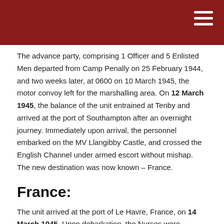The advance party, comprising 1 Officer and 5 Enlisted Men departed from Camp Penally on 25 February 1944, and two weeks later, at 0600 on 10 March 1945, the motor convoy left for the marshalling area. On 12 March 1945, the balance of the unit entrained at Tenby and arrived at the port of Southampton after an overnight journey. Immediately upon arrival, the personnel embarked on the MV Llangibby Castle, and crossed the English Channel under armed escort without mishap. The new destination was now known – France.
France:
The unit arrived at the port of Le Havre, France, on 14 March 1945. Upon debarkation, the Nurses were transported by the unit's motor transport to Mesnières-en-Bray, while the Officers and Enlisted Men embarked on a US Navy riverboat. The following day, the unit made a voyage up the Seine River